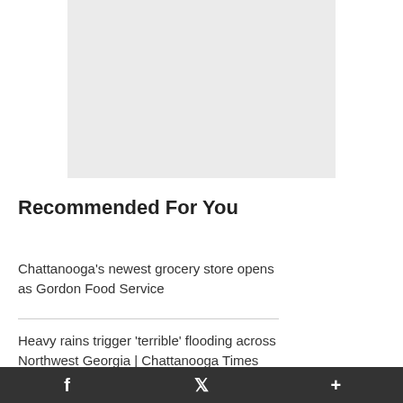[Figure (other): Light grey rectangular image placeholder]
Recommended For You
Chattanooga's newest grocery store opens as Gordon Food Service
Heavy rains trigger 'terrible' flooding across Northwest Georgia | Chattanooga Times Free